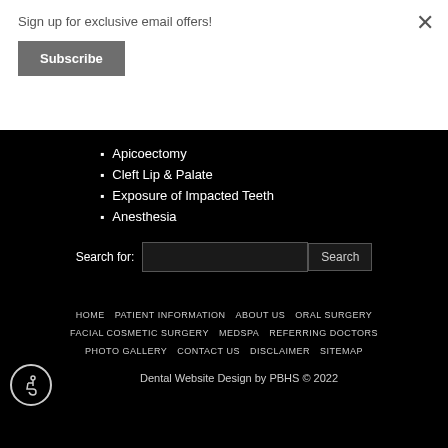Sign up for exclusive email offers!
Subscribe
Apicoectomy
Cleft Lip & Palate
Exposure of Impacted Teeth
Anesthesia
Search for:
HOME   PATIENT INFORMATION   ABOUT US   ORAL SURGERY   FACIAL COSMETIC SURGERY   MEDSPA   REFERRING DOCTORS   PHOTO GALLERY   CONTACT US   DISCLAIMER   SITEMAP
Dental Website Design by PBHS © 2022